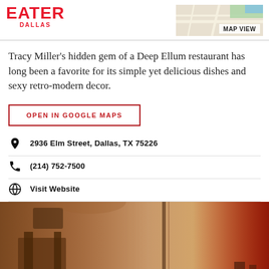EATER DALLAS
Tracy Miller's hidden gem of a Deep Ellum restaurant has long been a favorite for its simple yet delicious dishes and sexy retro-modern decor.
OPEN IN GOOGLE MAPS
2936 Elm Street, Dallas, TX 75226
(214) 752-7500
Visit Website
[Figure (photo): Interior photo of a restaurant with warm amber and orange lighting, showing chairs and decor elements]